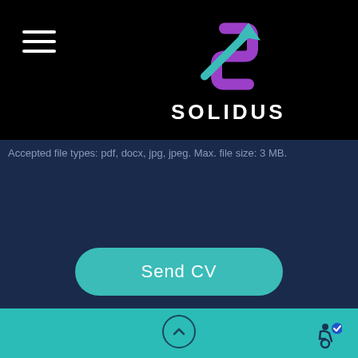[Figure (logo): Solidus logo with teal and purple arrow/letter S graphic and white SOLIDUS text below]
Accepted file types: pdf, docx, jpg, jpeg. Max. file size: 3 MB.
Send CV
[Figure (other): Footer bar with teal background, up-arrow circle button in center, accessibility icon on right]